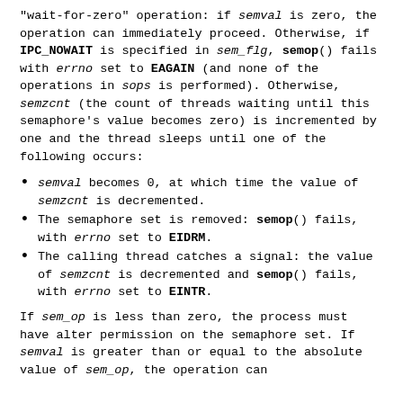"wait-for-zero" operation: if semval is zero, the operation can immediately proceed. Otherwise, if IPC_NOWAIT is specified in sem_flg, semop() fails with errno set to EAGAIN (and none of the operations in sops is performed). Otherwise, semzcnt (the count of threads waiting until this semaphore's value becomes zero) is incremented by one and the thread sleeps until one of the following occurs:
semval becomes 0, at which time the value of semzcnt is decremented.
The semaphore set is removed: semop() fails, with errno set to EIDRM.
The calling thread catches a signal: the value of semzcnt is decremented and semop() fails, with errno set to EINTR.
If sem_op is less than zero, the process must have alter permission on the semaphore set. If semval is greater than or equal to the absolute value of sem_op, the operation can